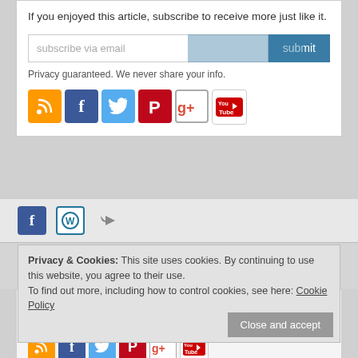If you enjoyed this article, subscribe to receive more just like it.
[Figure (screenshot): Email subscription input box with placeholder 'subscribe via email' and blue 'submit' button]
Privacy guaranteed. We never share your info.
[Figure (infographic): Row of social media icons: RSS (orange), Facebook (blue), Twitter (light blue), Pinterest (red), Google+ (multicolor), YouTube (white/red)]
[Figure (infographic): Small social media icons row: Facebook, WordPress, share arrow]
Privacy & Cookies: This site uses cookies. By continuing to use this website, you agree to their use. To find out more, including how to control cookies, see here: Cookie Policy
Close and accept
CONNECT
Connect with us on the following social media platforms.
[Figure (infographic): Row of small social media icons at bottom: RSS, Facebook, Twitter, Pinterest, Google+, YouTube]